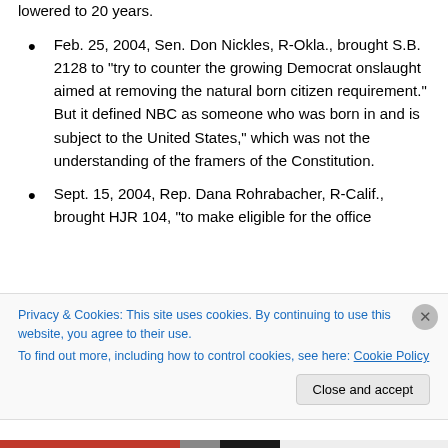lowered to 20 years.
Feb. 25, 2004, Sen. Don Nickles, R-Okla., brought S.B. 2128 to “try to counter the growing Democrat onslaught aimed at removing the natural born citizen requirement.” But it defined NBC as someone who was born in and is subject to the United States,” which was not the understanding of the framers of the Constitution.
Sept. 15, 2004, Rep. Dana Rohrabacher, R-Calif., brought HJR 104, “to make eligible for the office
Privacy & Cookies: This site uses cookies. By continuing to use this website, you agree to their use.
To find out more, including how to control cookies, see here: Cookie Policy